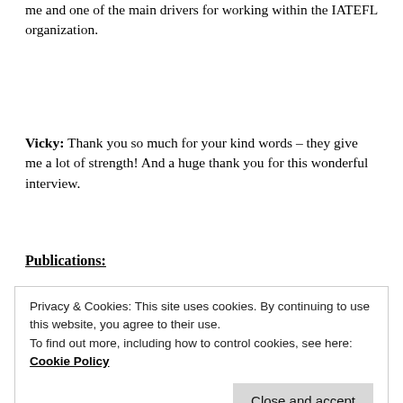me and one of the main drivers for working within the IATEFL organization.
Vicky: Thank you so much for your kind words – they give me a lot of strength! And a huge thank you for this wonderful interview.
Publications:
Privacy & Cookies: This site uses cookies. By continuing to use this website, you agree to their use.
To find out more, including how to control cookies, see here: Cookie Policy
Close and accept